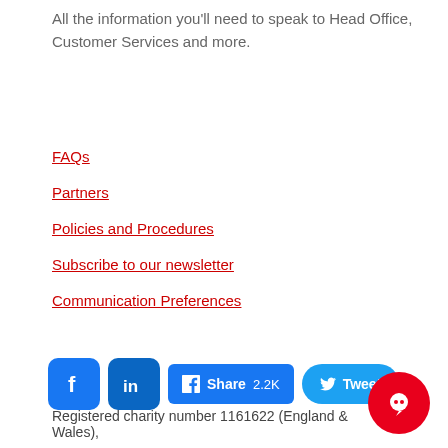All the information you'll need to speak to Head Office, Customer Services and more.
FAQs
Partners
Policies and Procedures
Subscribe to our newsletter
Communication Preferences
[Figure (infographic): Social sharing bar with Facebook icon, LinkedIn icon, Facebook Share 2.2K button, and Twitter Tweet button]
Registered charity number 1161622 (England & Wales),